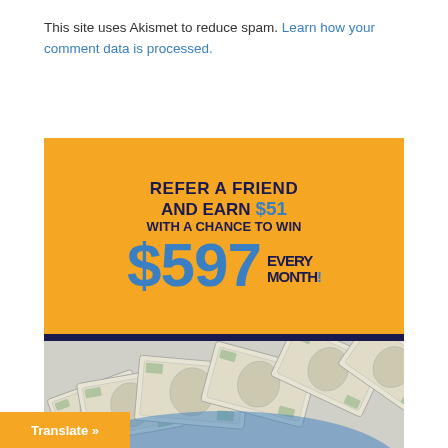This site uses Akismet to reduce spam. Learn how your comment data is processed.
[Figure (infographic): Promotional advertisement on orange background: 'REFER A FRIEND AND EARN $51 WITH A CHANCE TO WIN $597 EVERY MONTH!' with US dollar bills displayed at the bottom.]
Translate »